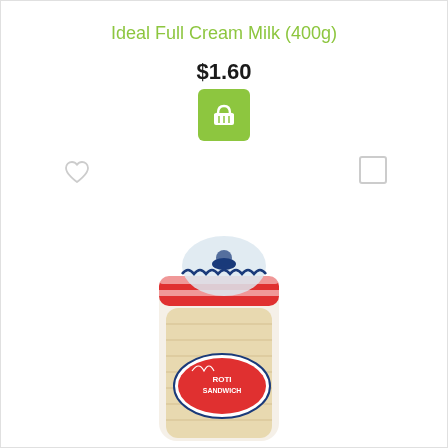Ideal Full Cream Milk (400g)
$1.60
[Figure (screenshot): Green add-to-cart button with shopping basket icon]
[Figure (illustration): Heart/wishlist icon outline]
[Figure (illustration): Checkbox outline square]
[Figure (photo): Product photo showing a loaf of sandwich bread (roti sandwich) in a plastic bag with red and white striped packaging and blue twist tie, with an oval label reading ROTI SANDWICH]